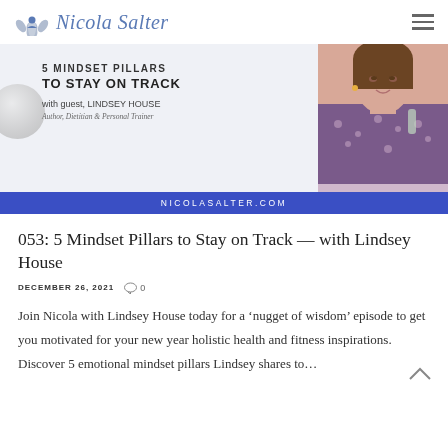Nicola Salter
[Figure (photo): Promotional podcast banner for '5 Mindset Pillars to Stay on Track with guest Lindsey House, Author, Dietitian & Personal Trainer' with nicolasalter.com branding and a photo of a woman smiling]
053: 5 Mindset Pillars to Stay on Track — with Lindsey House
DECEMBER 26, 2021  0
Join Nicola with Lindsey House today for a 'nugget of wisdom' episode to get you motivated for your new year holistic health and fitness inspirations. Discover 5 emotional mindset pillars Lindsey shares to...